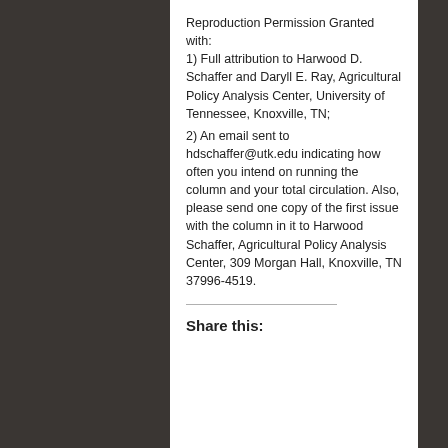Reproduction Permission Granted with:
1) Full attribution to Harwood D. Schaffer and Daryll E. Ray, Agricultural Policy Analysis Center, University of Tennessee, Knoxville, TN;
2) An email sent to hdschaffer@utk.edu indicating how often you intend on running the column and your total circulation. Also, please send one copy of the first issue with the column in it to Harwood Schaffer, Agricultural Policy Analysis Center, 309 Morgan Hall, Knoxville, TN 37996-4519.
Share this: